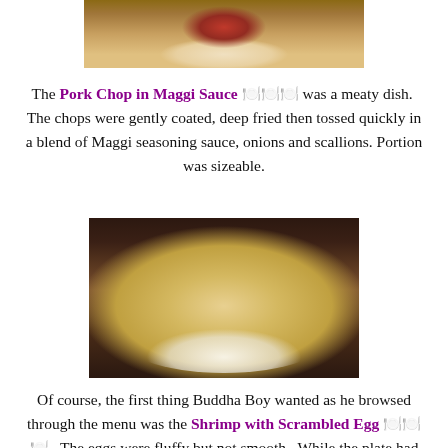[Figure (photo): Photo of pork chop dish on a white plate, partially visible at top of page]
The Pork Chop in Maggi Sauce 🍽️🍽️🍽️ was a meaty dish. The chops were gently coated, deep fried then tossed quickly in a blend of Maggi seasoning sauce, onions and scallions. Portion was sizeable.
[Figure (photo): Photo of Shrimp with Scrambled Egg dish served on a white plate on a dark wooden table]
Of course, the first thing Buddha Boy wanted as he browsed through the menu was the Shrimp with Scrambled Egg 🍽️🍽️🍽️. The eggs were fluffy but not smooth. While the plate had sufficient amount of big shrimps, the texture of the shrimps